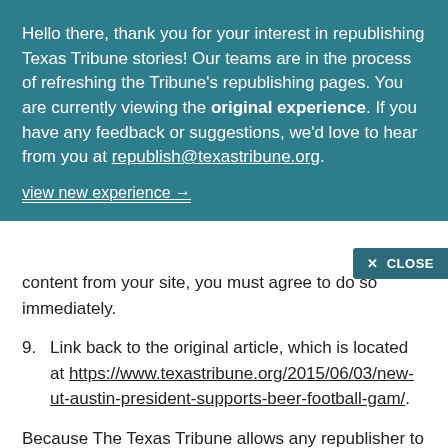Hello there, thank you for your interest in republishing Texas Tribune stories! Our teams are in the process of refreshing the Tribune's republishing pages. You are currently viewing the original experience. If you have any feedback or suggestions, we'd love to hear from you at republish@texastribune.org.
view new experience →
content from your site, you must agree to do so immediately.
9. Link back to the original article, which is located at https://www.texastribune.org/2015/06/03/new-ut-austin-president-supports-beer-football-gam/.
Because The Texas Tribune allows any republisher to syndicate our work for free, we've created a pixel to help us measure the reach and understand the